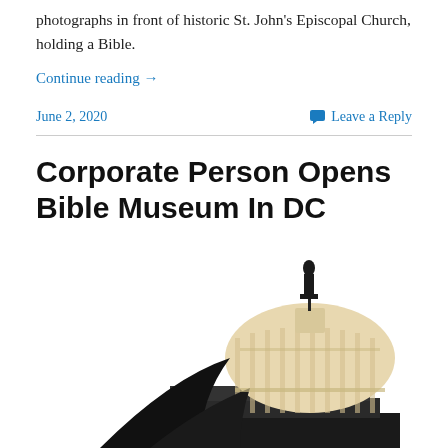photographs in front of historic St. John's Episcopal Church, holding a Bible.
Continue reading →
June 2, 2020
💬 Leave a Reply
Corporate Person Opens Bible Museum In DC
[Figure (photo): Photo of the US Capitol building dome, shown from below against a white background. The dome and its statue on top are visible in the right-center portion of the image.]